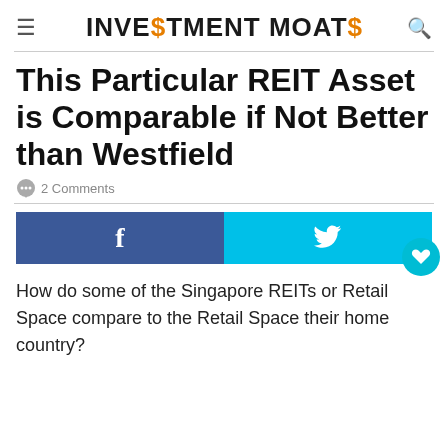INVESTMENT MOATS
This Particular REIT Asset is Comparable if Not Better than Westfield
2 Comments
[Figure (screenshot): Social sharing buttons: Facebook (blue) and Twitter (cyan), with a heart/save button]
How do some of the Singapore REITs or Retail Space compare to the Retail Space their home country?